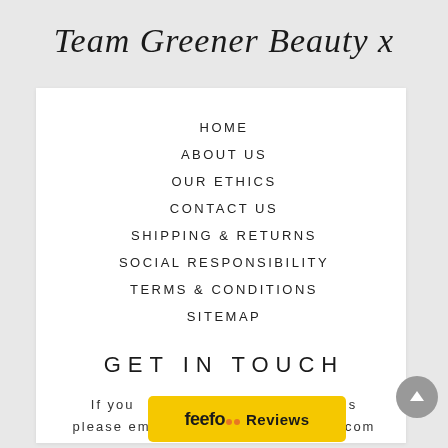Team Greener Beauty x
HOME
ABOUT US
OUR ETHICS
CONTACT US
SHIPPING & RETURNS
SOCIAL RESPONSIBILITY
TERMS & CONDITIONS
SITEMAP
GET IN TOUCH
If you have any questions please em...auty.com
[Figure (logo): Feefo Reviews badge - yellow rectangle with Feefo logo and Reviews text]